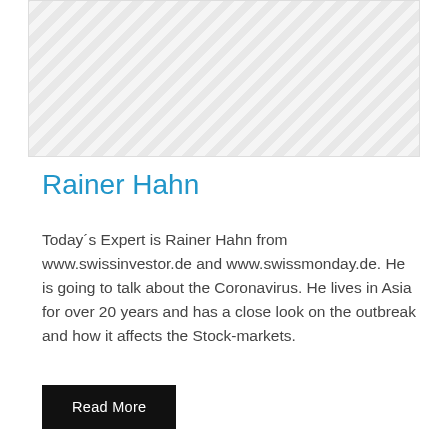[Figure (illustration): Diagonal stripe pattern placeholder image area with light grey background and alternating diagonal lines]
Rainer Hahn
Today´s Expert is Rainer Hahn from www.swissinvestor.de and www.swissmonday.de. He is going to talk about the Coronavirus. He lives in Asia for over 20 years and has a close look on the outbreak and how it affects the Stock-markets.
Read More